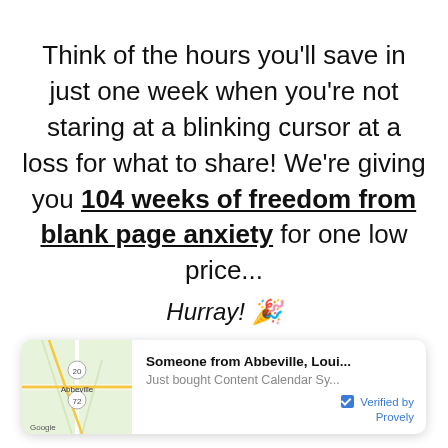Think of the hours you'll save in just one week when you're not staring at a blinking cursor at a loss for what to share! We're giving you 104 weeks of freedom from blank page anxiety for one low price...
Hurray! 🎉
[Figure (other): Notification popup showing a Google Maps thumbnail of Abbeville, Louisiana and text: 'Someone from Abbeville, Loui... Just bought Content Calendar Sy... Verified by Provely']